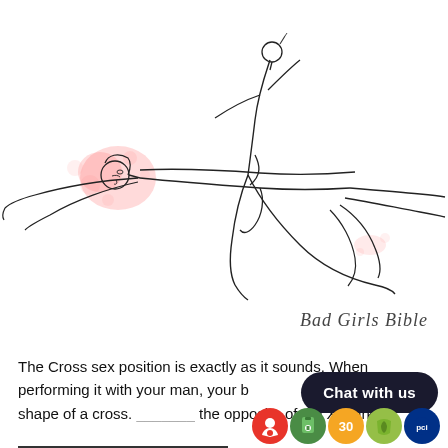[Figure (illustration): A line drawing illustration of two figures in the Cross sex position. One figure with pink/red hair lies horizontally, the other figure is positioned perpendicular on top, forming a cross shape. Minimalist style with pink watercolor accents near the head of the horizontal figure.]
Bad Girls Bible
The Cross sex position is exactly as it sounds. When performing it with your man, your bodies will be making the shape of a cross. [text obscured] the opposite of the X Marks [text cut off]